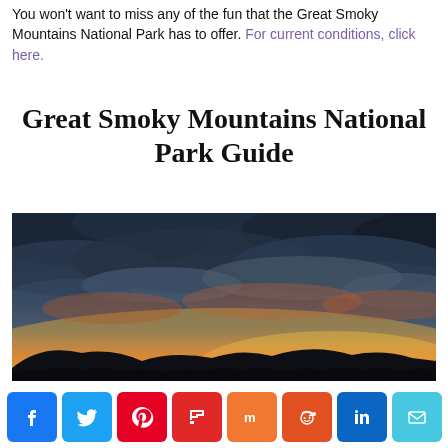You won't want to miss any of the fun that the Great Smoky Mountains National Park has to offer. For current conditions, click here.
Great Smoky Mountains National Park Guide
[Figure (photo): Dramatic sunset sky over mountain silhouette with dark storm clouds and orange/golden light on the horizon at Great Smoky Mountains National Park]
[Figure (infographic): Social media share buttons row: Facebook, Twitter, Pinterest, Flipboard, Mix, Reddit, LinkedIn, Email]